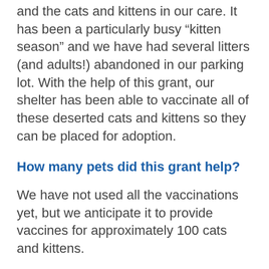and the cats and kittens in our care. It has been a particularly busy “kitten season” and we have had several litters (and adults!) abandoned in our parking lot. With the help of this grant, our shelter has been able to vaccinate all of these deserted cats and kittens so they can be placed for adoption.
How many pets did this grant help?
We have not used all the vaccinations yet, but we anticipate it to provide vaccines for approximately 100 cats and kittens.
Please provide a story of one or more specific pets this grant helped.
A Good Samaritan found a kitten with an